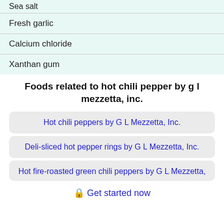Sea salt
Fresh garlic
Calcium chloride
Xanthan gum
Foods related to hot chili pepper by g l mezzetta, inc.
Hot chili peppers by G L Mezzetta, Inc.
Deli-sliced hot pepper rings by G L Mezzetta, Inc.
Hot fire-roasted green chili peppers by G L Mezzetta,
🔒 Get started now